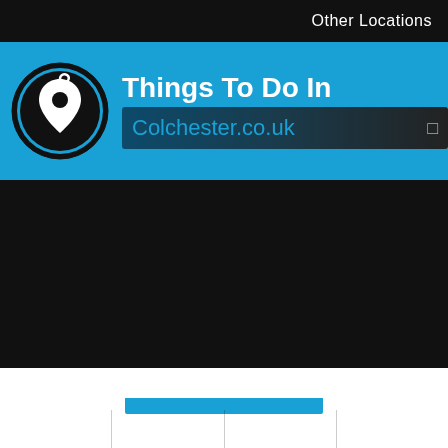Other Locations
Things To Do In Colchester.co.uk
Add Your Business
Add Your Event
Add Your Vacancy
Take A Franchise